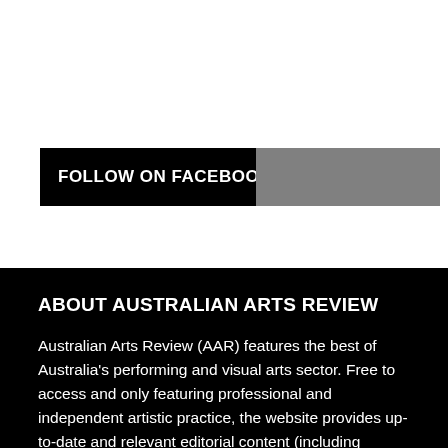FOLLOW ON FACEBOOK
ABOUT AUSTRALIAN ARTS REVIEW
Australian Arts Review (AAR) features the best of Australia's performing and visual arts sector. Free to access and only featuring professional and independent artistic practice, the website provides up-to-date and relevant editorial content (including reviews and